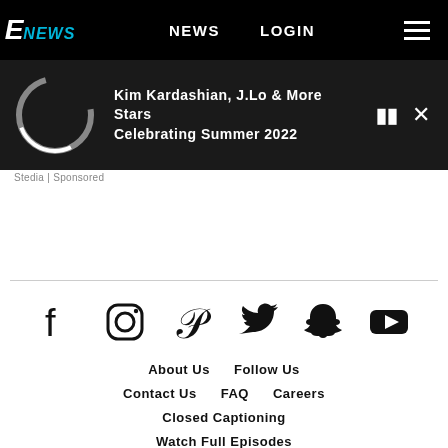E! NEWS | NEWS | LOGIN
Kim Kardashian, J.Lo & More Stars Celebrating Summer 2022
Stedia | Sponsored
[Figure (logo): Social media icons row: Facebook, Instagram, Pinterest, Twitter, Snapchat, YouTube]
About Us
Follow Us
Contact Us
FAQ
Careers
Closed Captioning
Watch Full Episodes